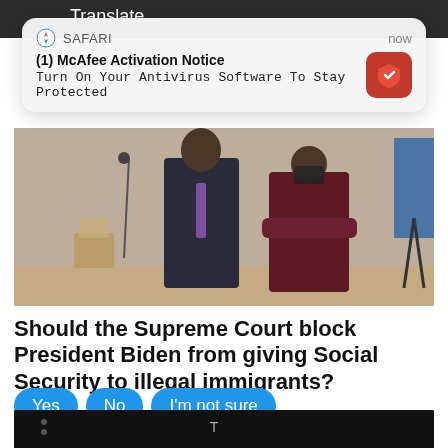[Figure (screenshot): Safari browser push notification overlay from McAfee: '(1) McAfee Activation Notice — Turn On Your Antivirus Software To Stay Protected']
[Figure (photo): Two people standing indoors in formal attire, one in a dark suit and one in a dark red coat wearing a mask, in what appears to be an ornate room.]
Should the Supreme Court block President Biden from giving Social Security to illegal immigrants?
Yes
No
I'm not sure
198,172 Votes
[Figure (photo): Partial view of a dark medical or ultrasound image at the bottom of the page.]